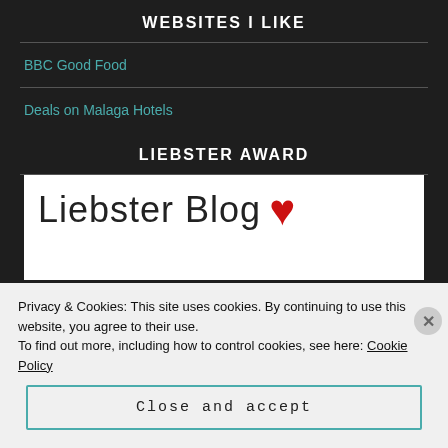WEBSITES I LIKE
BBC Good Food
Deals on Malaga Hotels
LIEBSTER AWARD
[Figure (illustration): Liebster Blog award image with 'Liebster Blog' text and a red heart]
Privacy & Cookies: This site uses cookies. By continuing to use this website, you agree to their use.
To find out more, including how to control cookies, see here: Cookie Policy
Close and accept